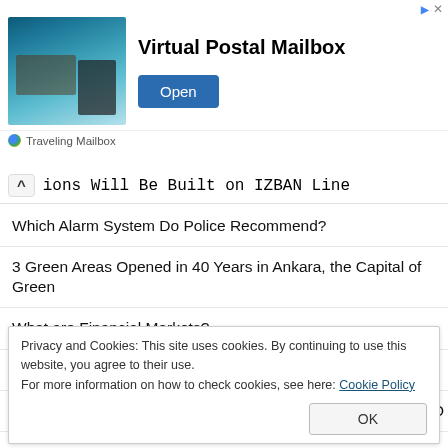[Figure (other): Advertisement banner: Virtual Postal Mailbox with image of woman at seaside cafe, Open button, Traveling Mailbox branding]
ions Will Be Built on IZBAN Line
Which Alarm System Do Police Recommend?
3 Green Areas Opened in 40 Years in Ankara, the Capital of Green
What are Financial Markets?
Good News to Manisa, Water Held in Ahmetli Butterfly Dam
Preparations for the Izmir International Horticultural Fair 'EXPO
Privacy and Cookies: This site uses cookies. By continuing to use this website, you agree to their use.
For more information on how to check cookies, see here: Cookie Policy